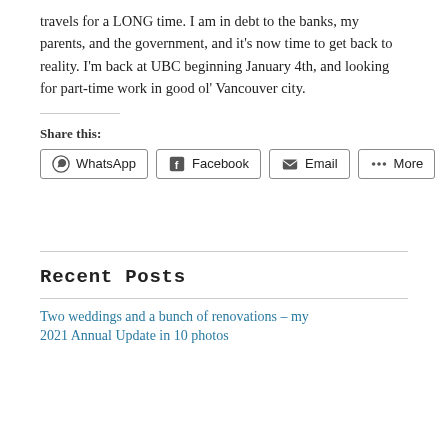travels for a LONG time. I am in debt to the banks, my parents, and the government, and it's now time to get back to reality. I'm back at UBC beginning January 4th, and looking for part-time work in good ol' Vancouver city.
Share this:
WhatsApp  Facebook  Email  More
Recent Posts
Two weddings and a bunch of renovations – my 2021 Annual Update in 10 photos